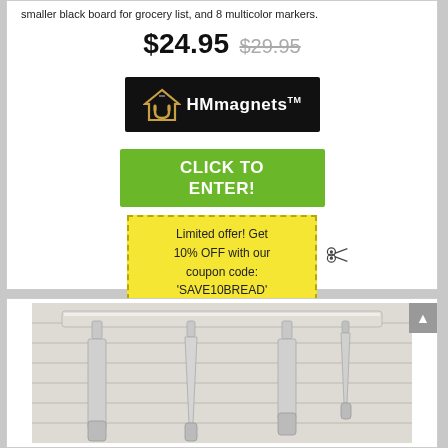smaller black board for grocery list, and 8 multicolor markers.
$24.95  $29.95
[Figure (logo): HMmagnets™ logo on black background with house/magnet icon]
CLICK TO ENTER!
Limited offer! Get 10% OFF with our coupon code: 'SAVE10BREAD'
[Figure (photo): Kitchen knives mounted on a white magnetic knife strip against white brick wall background]